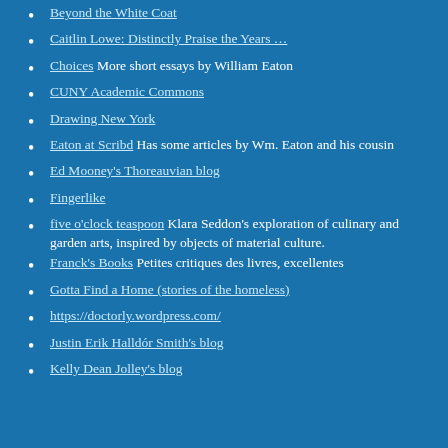Beyond the White Coat
Caitlin Lowe: Distinctly Praise the Years …
Choices More short essays by William Eaton
CUNY Academic Commons
Drawing New York
Eaton at Scribd Has some articles by Wm. Eaton and his cousin
Ed Mooney's Thoreauvian blog
Fingerlike
five o'clock teaspoon Klara Seddon's exploration of culinary and garden arts, inspired by objects of material culture.
Franck's Books Petites critiques des livres, excellentes
Gotta Find a Home (stories of the homeless)
https://doctorly.wordpress.com/
Justin Erik Halldór Smith's blog
Kelly Dean Jolley's blog